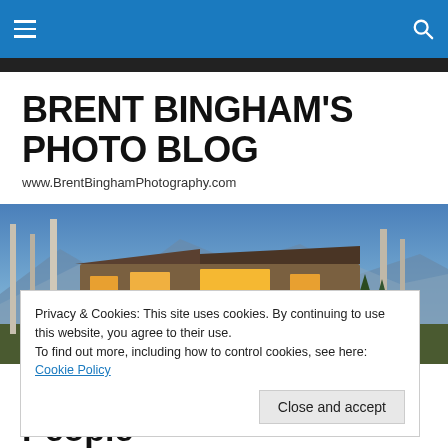Navigation header with hamburger menu and search icon
BRENT BINGHAM'S PHOTO BLOG
www.BrentBinghamPhotography.com
[Figure (photo): Exterior photo of a modern stone and wood luxury house at dusk with mountains and trees in the background, illuminated interior lights]
Privacy & Cookies: This site uses cookies. By continuing to use this website, you agree to their use. To find out more, including how to control cookies, see here: Cookie Policy
Close and accept
Photo Assignment of People